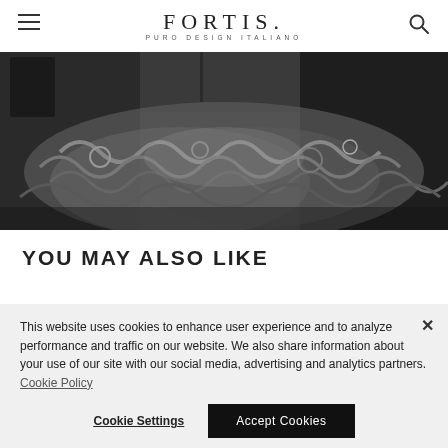FORTIS. PURO DESIGN ITALIANO
[Figure (photo): Black and white photograph of a large pile of chains, gears and mechanical parts in what appears to be an industrial setting or warehouse]
YOU MAY ALSO LIKE
This website uses cookies to enhance user experience and to analyze performance and traffic on our website. We also share information about your use of our site with our social media, advertising and analytics partners. Cookie Policy
Cookie Settings   Accept Cookies